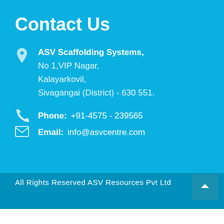Contact Us
ASV Scaffolding Systems, No 1,VIP Nagar, Kalayarkovil, Sivagangai (District) - 630 551.
Phone: +91-4575 - 239565
Email: info@asvcentre.com
All Rights Reserved ASV Resources Pvt Ltd